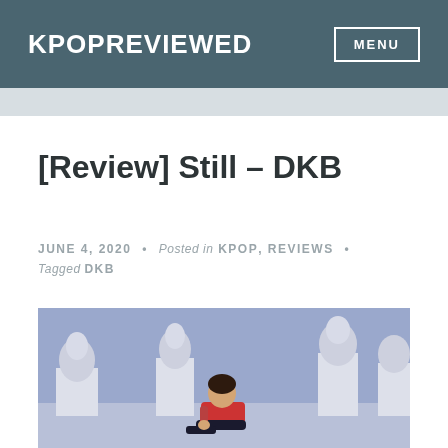KPOPREVIEWED   MENU
[Review] Still – DKB
JUNE 4, 2020 · Posted in KPOP, REVIEWS · Tagged DKB
[Figure (photo): A person in a red jacket sitting on the floor in a room with white pedestals topped with classical busts, against a blue-purple background.]